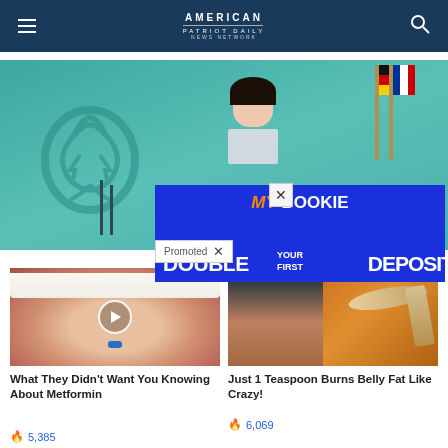American Patriot Daily News Network
[Figure (photo): News conference photo with person at podium, teal background with eagle emblem, German and EU flags visible]
[Figure (photo): MyBookie advertisement overlay: 'MY BOOKIE - DOUBLE YOUR FIRST DEPOSIT']
Promoted
[Figure (photo): Thumbnail showing close-up of mouth with blue pill on tongue, with video play button overlay]
What They Didn't Want You Knowing About Metformin
5,385
[Figure (photo): Thumbnail showing fitness person and spice on spoon]
Just 1 Teaspoon Burns Belly Fat Like Crazy!
6,069